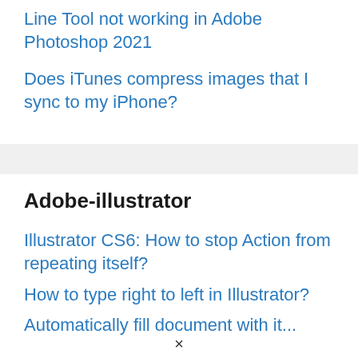Line Tool not working in Adobe Photoshop 2021
Does iTunes compress images that I sync to my iPhone?
Adobe-illustrator
Illustrator CS6: How to stop Action from repeating itself?
How to type right to left in Illustrator?
Automatically fill...